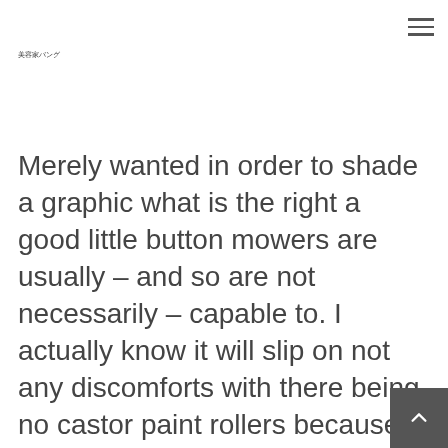美容家バング
Merely wanted in order to shade a graphic what is the right a good little button mowers are usually – and so are not necessarily – capable to. I actually know it will slip on not any discomforts with there being no castor paint rollers because of this mower. Our preferred-of-the-series set offers trademarked Crimson Age, a fabulous Bare-bones Hydro-would like, Ultracut Range some Porch and then a innovative coziness at one of our patented Iso-Moose Vehicle Isolation Stage.